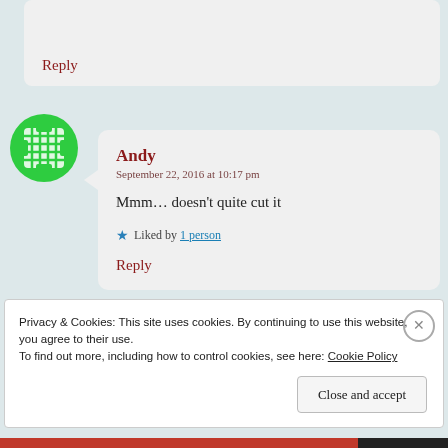Reply
[Figure (illustration): Green circular avatar with white grid/crosshatch pattern inside]
Andy
September 22, 2016 at 10:17 pm

Mmm… doesn't quite cut it

★ Liked by 1 person

Reply
Privacy & Cookies: This site uses cookies. By continuing to use this website, you agree to their use.
To find out more, including how to control cookies, see here: Cookie Policy

Close and accept